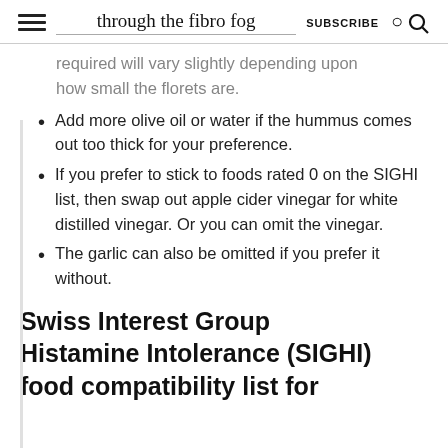through the fibro fog | SUBSCRIBE
required will vary slightly depending upon how small the florets are.
Add more olive oil or water if the hummus comes out too thick for your preference.
If you prefer to stick to foods rated 0 on the SIGHI list, then swap out apple cider vinegar for white distilled vinegar. Or you can omit the vinegar.
The garlic can also be omitted if you prefer it without.
Swiss Interest Group Histamine Intolerance (SIGHI) food compatibility list for